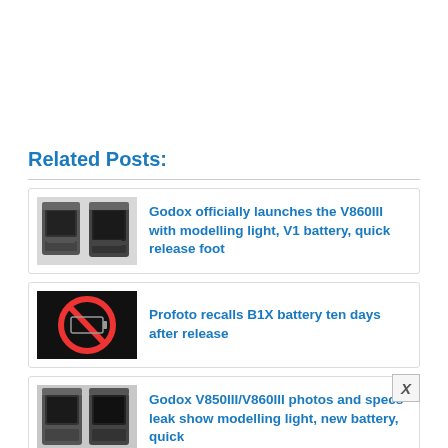Related Posts:
Godox officially launches the V860III with modelling light, V1 battery, quick release foot
Profoto recalls B1X battery ten days after release
Godox V850III/V860III photos and specs leak show modelling light, new battery, quick
Sony's full-frame FX6 is finally here and offers 15+ stops of dynamic range